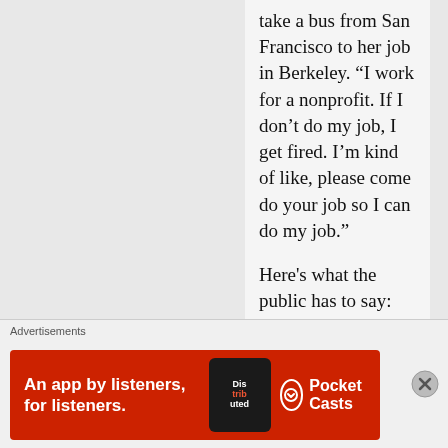take a bus from San Francisco to her job in Berkeley. “I work for a nonprofit. If I don’t do my job, I get fired. I’m kind of like, please come do your job so I can do my job.”
Here's what the public has to say:
Have BART run by a private sector company based out of the great state of texas. expect improved service, friendlier staff, friendlier police officers, improved service, cleaner and safer cars and stations, reduced f...
Advertisements
[Figure (other): Red advertisement banner for Pocket Casts podcast app. Text reads: An app by listeners, for listeners. Shows a phone with app icon and Pocket Casts logo.]